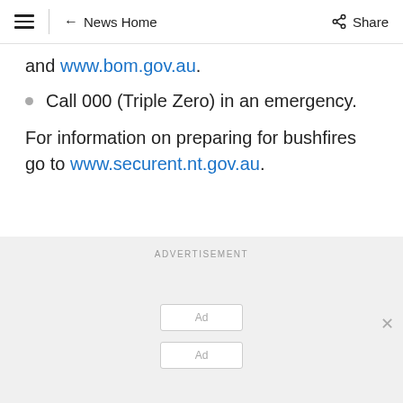☰ | ← News Home    ⋉ Share
and www.bom.gov.au.
Call 000 (Triple Zero) in an emergency.
For information on preparing for bushfires go to www.securent.nt.gov.au.
ADVERTISEMENT
[Figure (other): Advertisement placeholder with two Ad boxes and a close button]